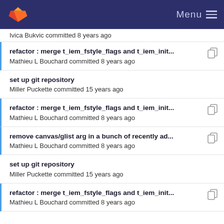GitLab Menu
Ivica Bukvic committed 8 years ago
refactor : merge t_iem_fstyle_flags and t_iem_init...
Mathieu L Bouchard committed 8 years ago
set up git repository
Miller Puckette committed 15 years ago
refactor : merge t_iem_fstyle_flags and t_iem_init...
Mathieu L Bouchard committed 8 years ago
remove canvas/glist arg in a bunch of recently ad...
Mathieu L Bouchard committed 8 years ago
set up git repository
Miller Puckette committed 15 years ago
refactor : merge t_iem_fstyle_flags and t_iem_init...
Mathieu L Bouchard committed 8 years ago